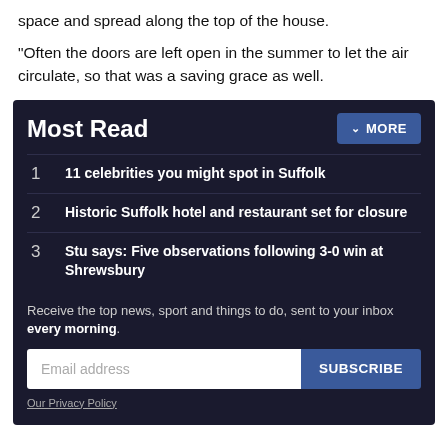space and spread along the top of the house.
“Often the doors are left open in the summer to let the air circulate, so that was a saving grace as well.
Most Read
1  11 celebrities you might spot in Suffolk
2  Historic Suffolk hotel and restaurant set for closure
3  Stu says: Five observations following 3-0 win at Shrewsbury
Receive the top news, sport and things to do, sent to your inbox every morning.
Email address
SUBSCRIBE
Our Privacy Policy